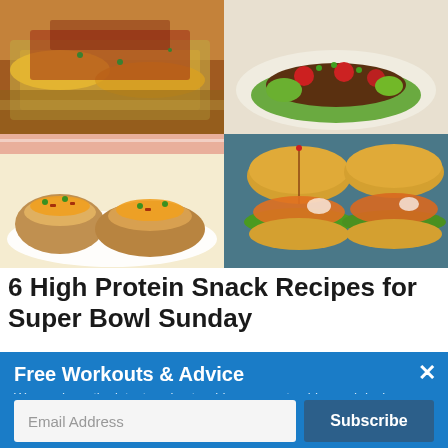[Figure (photo): 2x2 grid of food photos: top-left shows nachos/loaded fries with cheese and chili on foil; top-right shows lettuce-wrapped tacos with beef, tomatoes, avocado; bottom-left shows loaded baked potatoes with cheese, bacon, green onions on a plate; bottom-right shows two buffalo chicken sliders on buns with lettuce.]
6 High Protein Snack Recipes for Super Bowl Sunday
Free Workouts & Advice
We send you the latest workouts, videos, expert guides and deals.